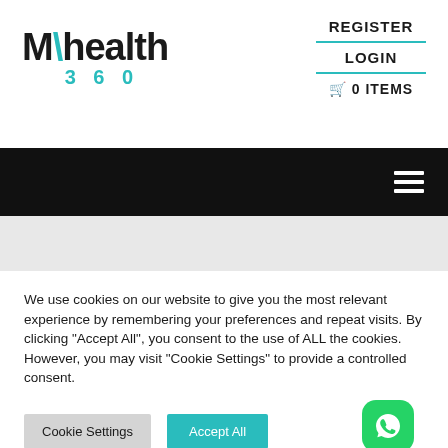[Figure (logo): MyHealth360 logo with teal accent]
REGISTER
LOGIN
🛒 0 ITEMS
[Figure (other): Black navigation bar with hamburger menu icon]
We use cookies on our website to give you the most relevant experience by remembering your preferences and repeat visits. By clicking "Accept All", you consent to the use of ALL the cookies. However, you may visit "Cookie Settings" to provide a controlled consent.
Cookie Settings | Accept All